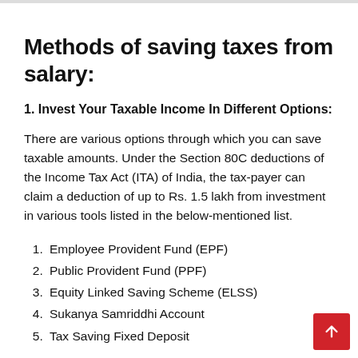Methods of saving taxes from salary:
1. Invest Your Taxable Income In Different Options:
There are various options through which you can save taxable amounts. Under the Section 80C deductions of the Income Tax Act (ITA) of India, the tax-payer can claim a deduction of up to Rs. 1.5 lakh from investment in various tools listed in the below-mentioned list.
Employee Provident Fund (EPF)
Public Provident Fund (PPF)
Equity Linked Saving Scheme (ELSS)
Sukanya Samriddhi Account
Tax Saving Fixed Deposit